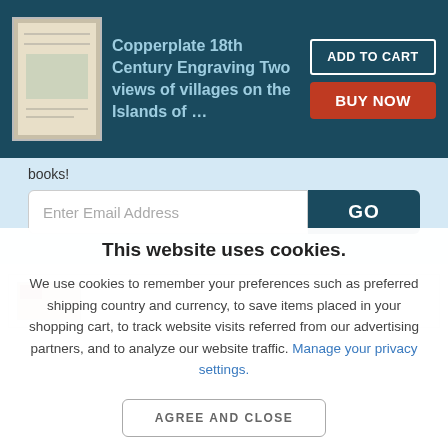Copperplate 18th Century Engraving Two views of villages on the Islands of …
books!
Enter Email Address
GO
This website uses cookies.
We use cookies to remember your preferences such as preferred shipping country and currency, to save items placed in your shopping cart, to track website visits referred from our advertising partners, and to analyze our website traffic. Manage your privacy settings.
AGREE AND CLOSE